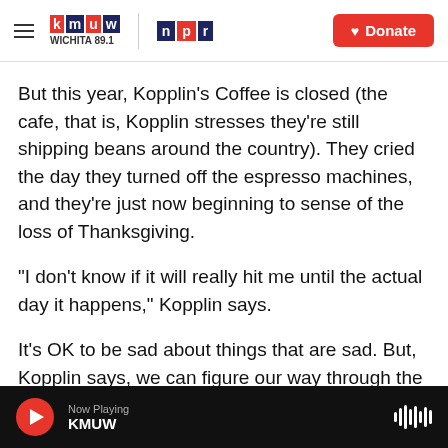[Figure (logo): KMUW Wichita 89.1 and NPR logos with hamburger menu and Donate button]
But this year, Kopplin's Coffee is closed (the cafe, that is, Kopplin stresses they're still shipping beans around the country). They cried the day they turned off the espresso machines, and they're just now beginning to sense of the loss of Thanksgiving.
"I don't know if it will really hit me until the actual day it happens," Kopplin says.
It's OK to be sad about things that are sad. But, Kopplin says, we can figure our way through the holidays and the changed traditions, just like we've figured out everything else this year. Whether that
[Figure (screenshot): Audio player bar showing Now Playing KMUW with play button and waveform icon]